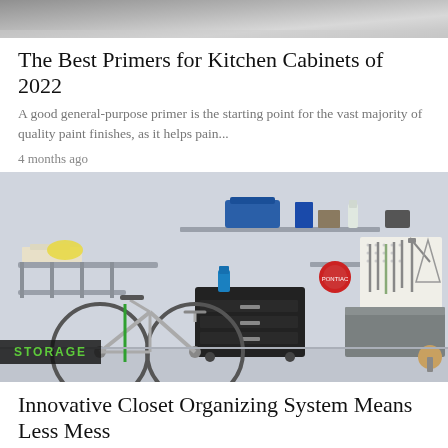[Figure (photo): Partial top of image, gray/neutral tones, cropped]
The Best Primers for Kitchen Cabinets of 2022
A good general-purpose primer is the starting point for the vast majority of quality paint finishes, as it helps pain...
4 months ago
[Figure (photo): Organized garage storage system with shelves, a bicycle, tool chest, pegboard with tools, and a workbench. Green STORAGE label overlay in bottom left.]
Innovative Closet Organizing System Means Less Mess